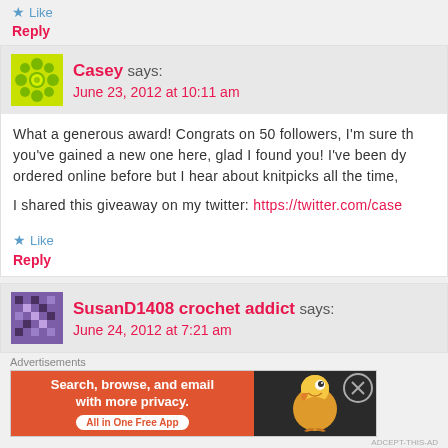★ Like
Reply
Casey says: June 23, 2012 at 10:11 am
What a generous award! Congrats on 50 followers, I'm sure th you've gained a new one here, glad I found you! I've been dy ordered online before but I hear about knitpicks all the time,
I shared this giveaway on my twitter: https://twitter.com/case
★ Like
Reply
SusanD1408 crochet addict says: June 24, 2012 at 7:21 am
Advertisements
[Figure (infographic): DuckDuckGo advertisement banner: orange section with text 'Search, browse, and email with more privacy. All in One Free App', and dark section with DuckDuckGo duck logo]